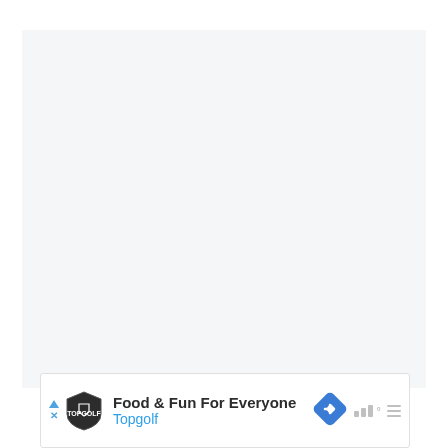[Figure (other): Large light gray empty rectangular area occupying most of the page, representing a blank content/media area]
[Figure (other): Advertisement banner for Topgolf showing logo, text 'Food & Fun For Everyone / Topgolf', navigation diamond icon, signal bars and menu icons]